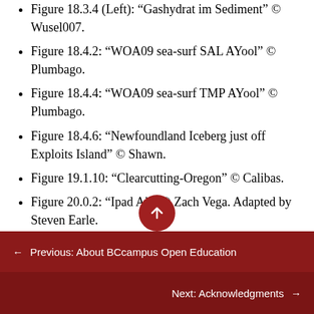Figure 18.3.4 (Left): “Gashydrat im Sediment” © Wusel007.
Figure 18.4.2: “WOA09 sea-surf SAL AYool” © Plumbago.
Figure 18.4.4: “WOA09 sea-surf TMP AYool” © Plumbago.
Figure 18.4.6: “Newfoundland Iceberg just off Exploits Island” © Shawn.
Figure 19.1.10: “Clearcutting-Oregon” © Calibas.
Figure 20.0.2: “Ipad Air” © Zach Vega. Adapted by Steven Earle.
Figure 20.0.3: “Ballpoint pen parts” by unknown.
← Previous: About BCcampus Open Education
Next: Acknowledgments →